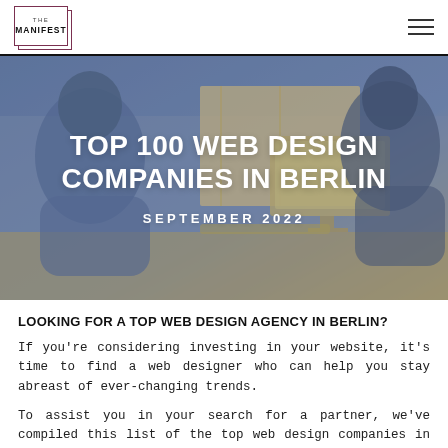THE MANIFEST
[Figure (photo): Duotone blue-and-yellow photograph of two people working at a computer desk, used as hero banner background]
TOP 100 WEB DESIGN COMPANIES IN BERLIN
SEPTEMBER 2022
LOOKING FOR A TOP WEB DESIGN AGENCY IN BERLIN?
If you're considering investing in your website, it's time to find a web designer who can help you stay abreast of ever-changing trends.
To assist you in your search for a partner, we've compiled this list of the top web design companies in Berlin.